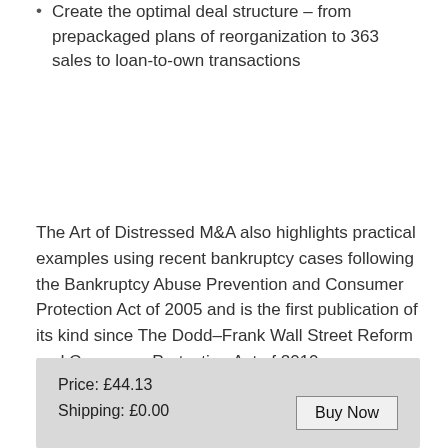Create the optimal deal structure – from prepackaged plans of reorganization to 363 sales to loan-to-own transactions
The Art of Distressed M&A also highlights practical examples using recent bankruptcy cases following the Bankruptcy Abuse Prevention and Consumer Protection Act of 2005 and is the first publication of its kind since The Dodd–Frank Wall Street Reform and Consumer Protection Act of 2010.
Price: £44.13
Shipping: £0.00